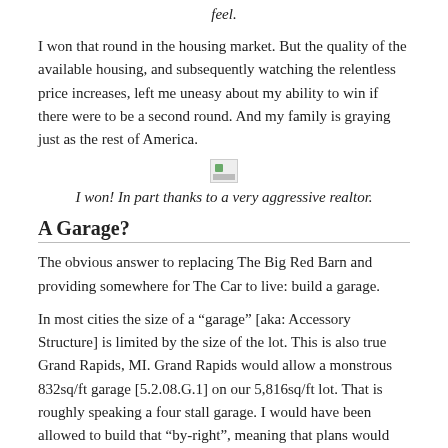feel.
I won that round in the housing market. But the quality of the available housing, and subsequently watching the relentless price increases, left me uneasy about my ability to win if there were to be a second round. And my family is graying just as the rest of America.
[Figure (photo): Small broken/placeholder image icon]
I won! In part thanks to a very aggressive realtor.
A Garage?
The obvious answer to replacing The Big Red Barn and providing somewhere for The Car to live: build a garage.
In most cities the size of a “garage” [aka: Accessory Structure] is limited by the size of the lot. This is also true Grand Rapids, MI. Grand Rapids would allow a monstrous 832sq/ft garage [5.2.08.G.1] on our 5,816sq/ft lot. That is roughly speaking a four stall garage. I would have been allowed to build that “by-right”, meaning that plans would not require any special review or approval process. At that size the structure would have stretched the entire width of the rear lot, minus five foot setbacks, and been 22ft deep (36ft x 22 ft = 792sq/ft), 14ft tall.